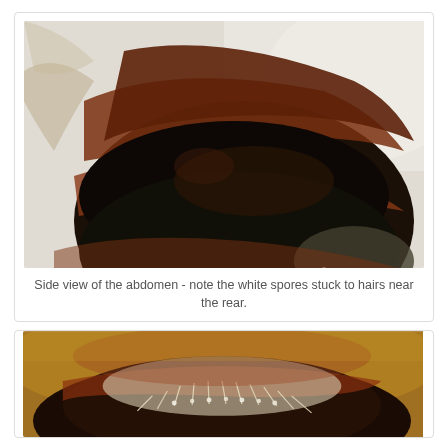[Figure (photo): Close-up macro photograph of an insect abdomen from the side, showing dark black and brown segmented abdomen with white spores visible on hairs near the rear end. The specimen appears to be a bee or similar insect photographed against a light background.]
Side view of the abdomen - note the white spores stuck to hairs near the rear.
[Figure (photo): Close-up macro photograph of the rear/tip of an insect abdomen showing white/cream colored hairs or bristles with spores, against a warm golden-brown blurred background.]